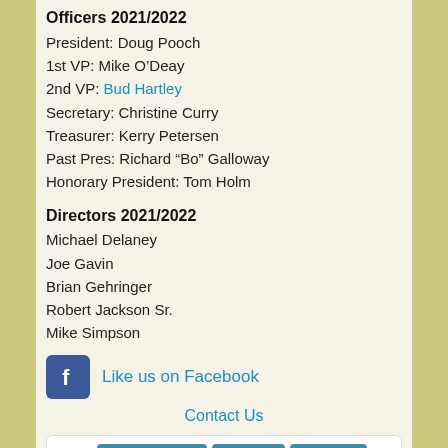Officers 2021/2022
President: Doug Pooch
1st VP: Mike O'Deay
2nd VP: Bud Hartley
Secretary: Christine Curry
Treasurer: Kerry Petersen
Past Pres: Richard “Bo” Galloway
Honorary President: Tom Holm
Directors 2021/2022
Michael Delaney
Joe Gavin
Brian Gehringer
Robert Jackson Sr.
Mike Simpson
Like us on Facebook
Contact Us
Tags: Banquet Center  Carp Fest  CarpFEST  Conservation  Des Moines  Des Moines Chapter